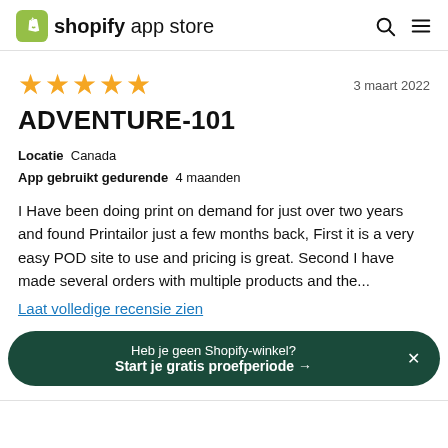shopify app store
3 maart 2022
ADVENTURE-101
Locatie  Canada
App gebruikt gedurende  4 maanden
I Have been doing print on demand for just over two years and found Printailor just a few months back, First it is a very easy POD site to use and pricing is great. Second I have made several orders with multiple products and the...
Laat volledige recensie zien
Heb je geen Shopify-winkel?
Start je gratis proefperiode →